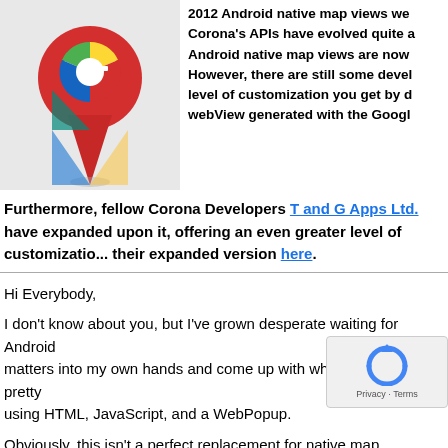[Figure (logo): Google Maps logo with colorful pin icon in red, green, yellow, and blue]
2012 Android native map views we... Corona's APIs have evolved quite a... Android native map views are now... However, there are still some devel... level of customization you get by d... webView generated with the Googl...
Furthermore, fellow Corona Developers T and G Apps Ltd. have expanded upon it, offering an even greater level of customization. Find their expanded version here.
Hi Everybody,
I don't know about you, but I've grown desperate waiting for Android... matters into my own hands and come up with what I think is a pretty... using HTML, JavaScript, and a WebPopup.
Obviously, this isn't a perfect replacement for native map... in the meantime, and it might come in handy later for dev... pretty sure won't support native webViews, since it doesn't come bu...
[Figure (other): reCAPTCHA widget with Privacy and Terms links]